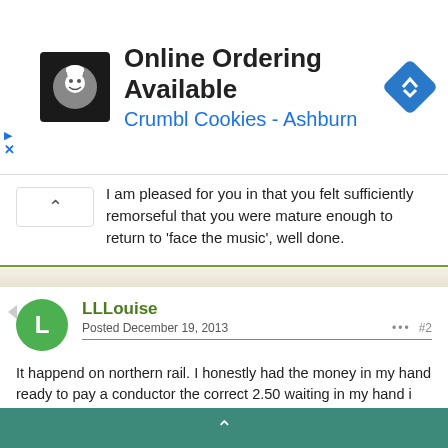[Figure (screenshot): Advertisement banner for Crumbl Cookies - Ashburn with logo, text 'Online Ordering Available', and navigation icon]
I am pleased for you in that you felt sufficiently remorseful that you were mature enough to return to 'face the music', well done.
LLLouise
Posted December 19, 2013

It happend on northern rail. I honestly had the money in my hand ready to pay a conductor the correct 2.50 waiting in my hand i even showed the national rail guy this when he first stopped me. when I heard the word fine i just panicked im a student i couldnt afford it. I know for a fact i shouldnt have lied and I just panicked, thats why I went back and told him. is it likely this will result in a criminal record?